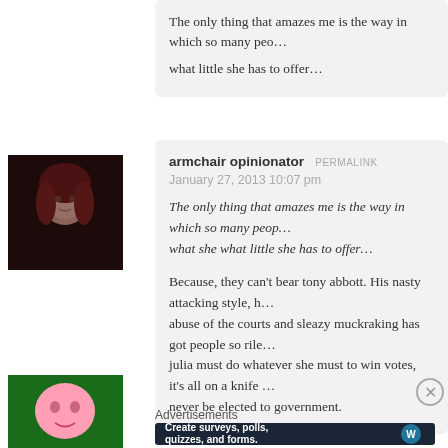The only thing that amazes me is the way in which so many peo… what little she has to offer…
[Figure (photo): Avatar photo of a young girl with reddish-brown hair, black and white/sepia toned]
armchair opinionator  PERMALINK
January 27, 2013 10:07 pm
The only thing that amazes me is the way in which so many peop… what she what little she has to offer…
Because, they can't bear tony abbott. His nasty attacking style, h… abuse of the courts and sleazy muckraking has got people so rile… julia must do whatever she must to win votes, it's all on a knife … never be elected to government.
[Figure (photo): Avatar image with pink cartoon face on green background]
Advertisements
[Figure (screenshot): Advertisement banner: Create surveys, polls, quizzes, and forms. WordPress logo.]